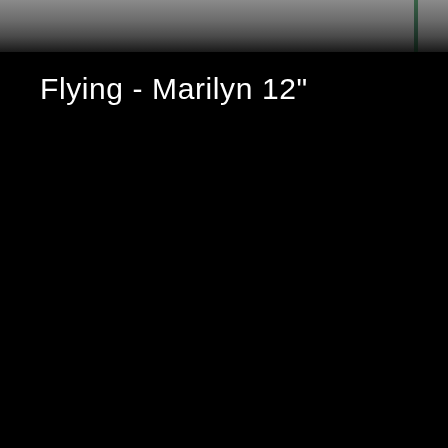[Figure (photo): Partial photograph visible at top of page showing a gray/textured surface with a dark green diagonal element in the upper right corner, fading to black]
Flying - Marilyn 12"